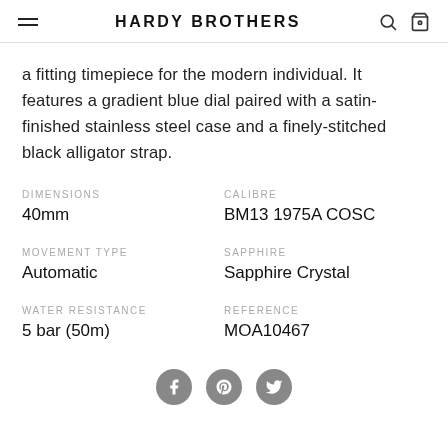HARDY BROTHERS
a fitting timepiece for the modern individual. It features a gradient blue dial paired with a satin-finished stainless steel case and a finely-stitched black alligator strap.
| DIMENSIONS | CALIBRE |
| 40mm | BM13 1975A COSC |
| MOVEMENT TYPE | SAPPHIRE |
| Automatic | Sapphire Crystal |
| WATER RESISTANCE | REFERENCE |
| 5 bar (50m) | MOA10467 |
[Figure (infographic): Three social media icons: Facebook, Pinterest, Twitter — circular grey buttons]